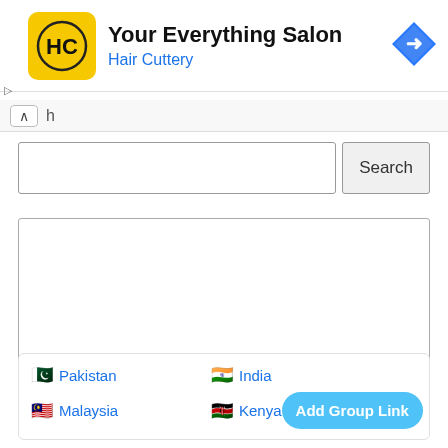[Figure (screenshot): Hair Cuttery advertisement banner with yellow logo showing HC, title 'Your Everything Salon', subtitle 'Hair Cuttery', and blue navigation diamond icon]
h
[Figure (screenshot): Search bar with empty text input and Search button]
[Figure (screenshot): Empty white content box area]
Pakistan   India   Malaysia   Kenya   Add Group Link